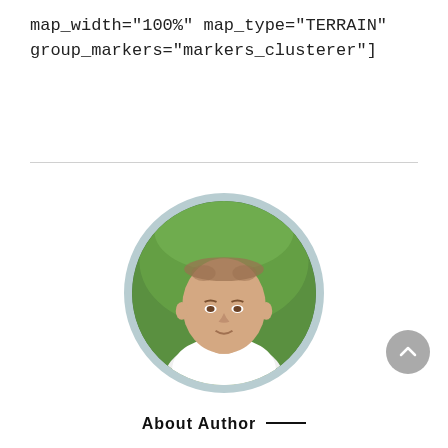map_width="100%" map_type="TERRAIN" group_markers="markers_clusterer"]
[Figure (photo): Circular profile photo of a man with a green outdoor background, wearing a white shirt. The photo has a light blue-grey circular border.]
About Author ——